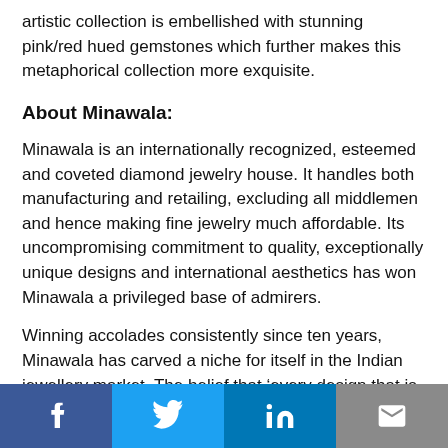artistic collection is embellished with stunning pink/red hued gemstones which further makes this metaphorical collection more exquisite.
About Minawala:
Minawala is an internationally recognized, esteemed and coveted diamond jewelry house. It handles both manufacturing and retailing, excluding all middlemen and hence making fine jewelry much affordable. Its uncompromising commitment to quality, exceptionally unique designs and international aesthetics has won Minawala a privileged base of admirers.
Winning accolades consistently since ten years, Minawala has carved a niche for itself in the Indian jewellery market. The belief that ‘every design that is created has to be unique and something the wearer will cherish for years to come’ is
Facebook | Twitter | LinkedIn | Email